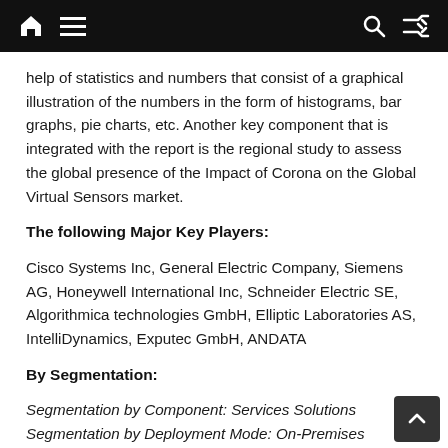[navigation bar with home, menu, search, shuffle icons]
help of statistics and numbers that consist of a graphical illustration of the numbers in the form of histograms, bar graphs, pie charts, etc. Another key component that is integrated with the report is the regional study to assess the global presence of the Impact of Corona on the Global Virtual Sensors market.
The following Major Key Players:
Cisco Systems Inc, General Electric Company, Siemens AG, Honeywell International Inc, Schneider Electric SE, Algorithmica technologies GmbH, Elliptic Laboratories AS, IntelliDynamics, Exputec GmbH, ANDATA
By Segmentation:
Segmentation by Component: Services Solutions Segmentation by Deployment Mode: On-Premises Cloud Segmentation by end user: